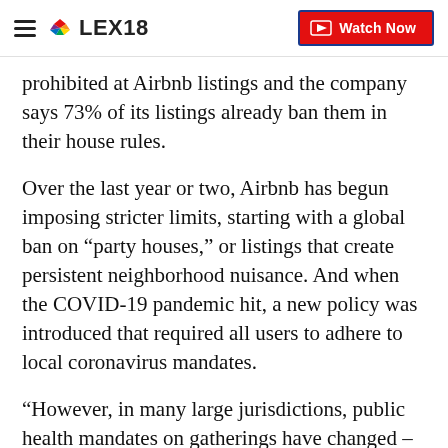LEX18 | Watch Now
prohibited at Airbnb listings and the company says 73% of its listings already ban them in their house rules.
Over the last year or two, Airbnb has begun imposing stricter limits, starting with a global ban on “party houses,” or listings that create persistent neighborhood nuisance. And when the COVID-19 pandemic hit, a new policy was introduced that required all users to adhere to local coronavirus mandates.
“However, in many large jurisdictions, public health mandates on gatherings have changed – and in some places swung back and forth in response to the changing rates of COVID cases – as have regulations